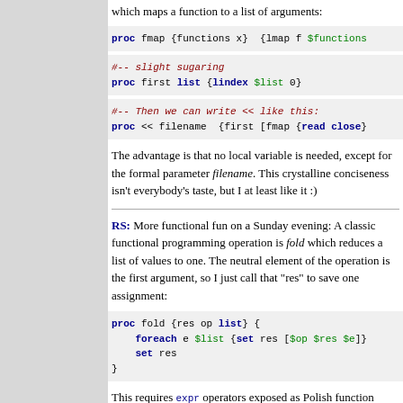which maps a function to a list of arguments:
proc fmap {functions x}  {lmap f $functions
#-- slight sugaring
proc first list {lindex $list 0}
#-- Then we can write << like this:
proc << filename  {first [fmap {read close}
The advantage is that no local variable is needed, except for the formal parameter filename. This crystalline conciseness isn't everybody's taste, but I at least like it :)
RS: More functional fun on a Sunday evening: A classic functional programming operation is fold which reduces a list of values to one. The neutral element of the operation is the first argument, so I just call that "res" to save one assignment:
proc fold {res op list} {
    foreach e $list {set res [$op $res $e]}
    set res
}
This requires expr operators exposed as Polish function names: